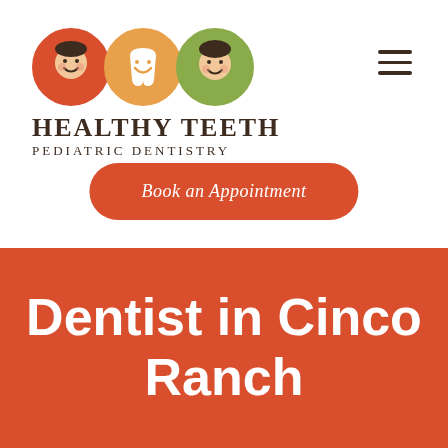[Figure (logo): Healthy Teeth Pediatric Dentistry logo with three circles: red circle with girl face, orange circle with tooth/smile, green circle with boy face]
HEALTHY TEETH
PEDIATRIC DENTISTRY
[Figure (other): Hamburger menu icon (three horizontal lines) in top right corner]
Book an Appointment
Dentist in Cinco Ranch